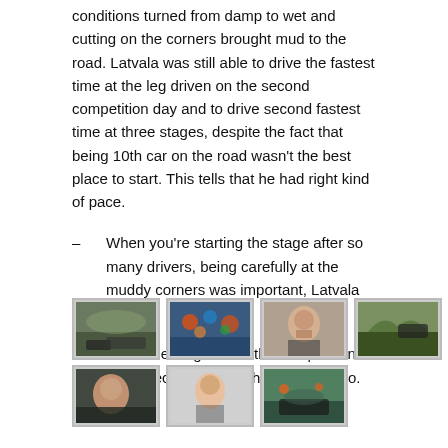conditions turned from damp to wet and cutting on the corners brought mud to the road. Latvala was still able to drive the fastest time at the leg driven on the second competition day and to drive second fastest time at three stages, despite the fact that being 10th car on the road wasn't the best place to start. This tells that he had right kind of pace.
– When you're starting the stage after so many drivers, being carefully at the muddy corners was important, Latvala said.
VW's Sebastien Ogier won the competition being 20,3 seconds faster than Dani Sordo.
[Figure (photo): Rally car on a hillside road]
[Figure (photo): Crowd at rally event]
[Figure (photo): Driver being interviewed]
[Figure (photo): Rally car on grassy hill]
[Figure (photo): Driver in car close-up]
[Figure (photo): Driver portrait smiling]
[Figure (photo): Rally car with crowd]